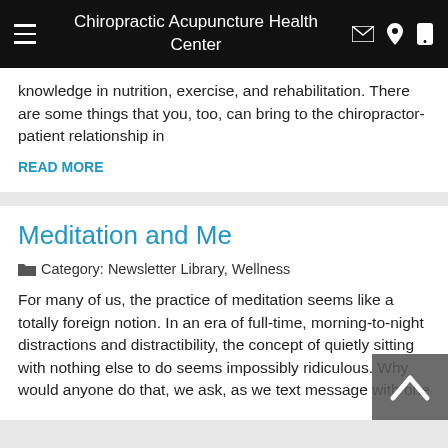Chiropractic Acupuncture Health Center
knowledge in nutrition, exercise, and rehabilitation. There are some things that you, too, can bring to the chiropractor-patient relationship in
READ MORE
Meditation and Me
Category: Newsletter Library, Wellness
For many of us, the practice of meditation seems like a totally foreign notion. In an era of full-time, morning-to-night distractions and distractibility, the concept of quietly sitting with nothing else to do seems impossibly ridiculous. Why would anyone do that, we ask, as we text message with one